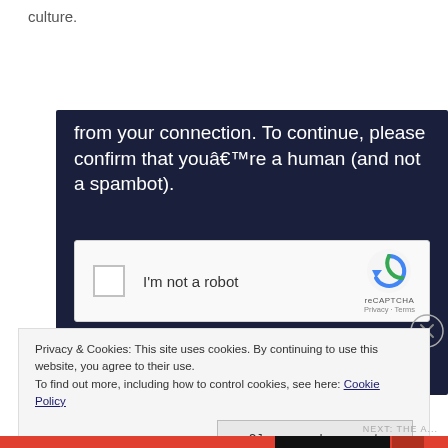culture.
[Figure (screenshot): Dark navy blue box showing a CAPTCHA verification message: 'from your connection. To continue, please confirm that youâ€™re a human (and not a spambot).' Below the text is a reCAPTCHA widget with a checkbox labeled 'I'm not a robot' and the reCAPTCHA logo with Privacy and Terms links.]
[Figure (screenshot): A close button (X in a circle) in the top right of the cookie banner area.]
Privacy & Cookies: This site uses cookies. By continuing to use this website, you agree to their use.
To find out more, including how to control cookies, see here: Cookie Policy
Close and accept